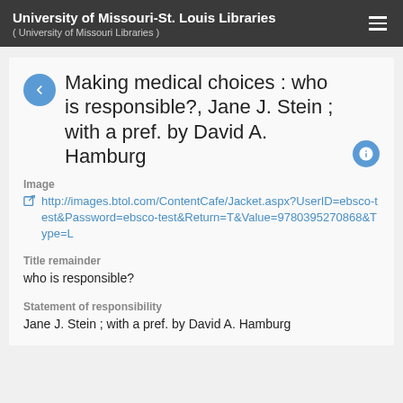University of Missouri-St. Louis Libraries ( University of Missouri Libraries )
Making medical choices : who is responsible?, Jane J. Stein ; with a pref. by David A. Hamburg
Image
http://images.btol.com/ContentCafe/Jacket.aspx?UserID=ebsco-test&Password=ebsco-test&Return=T&Value=9780395270868&Type=L
Title remainder
who is responsible?
Statement of responsibility
Jane J. Stein ; with a pref. by David A. Hamburg